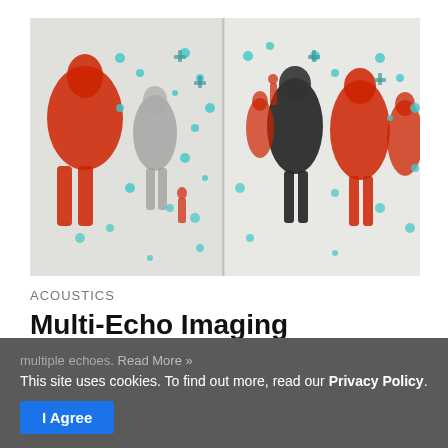[Figure (photo): Two-panel composite image showing 3D acoustic reconstruction of a room scene with human figure silhouettes rendered in red and black, overlaid with teal/cyan dot patterns representing multi-echo imaging data against a light background.]
ACOUSTICS
Multi-Echo Imaging
April 30, 2021
With a one-pixel detector and a pulsed emitting device, researchers are able to produce a 3D image of a room from multiple echoes. Read More »
This site uses cookies. To find out more, read our Privacy Policy.
I Agree